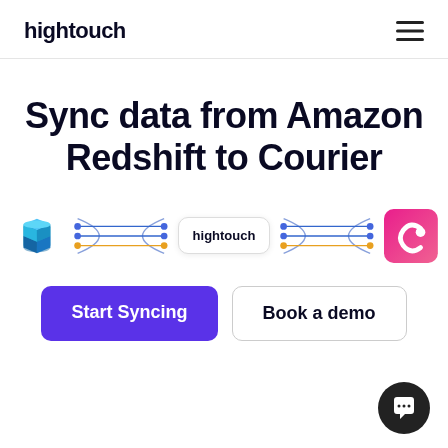hightouch
Sync data from Amazon Redshift to Courier
[Figure (illustration): Connector diagram showing Amazon Redshift logo on the left, flow lines through a central hightouch badge, and Courier logo on the right]
Start Syncing
Book a demo